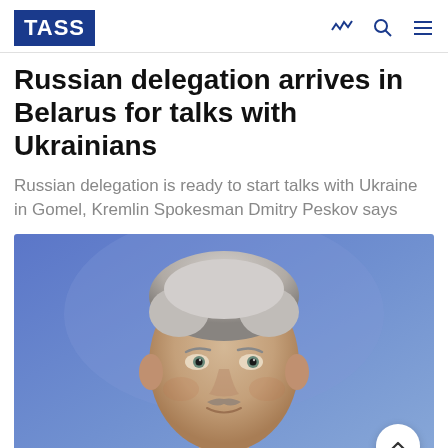TASS
Russian delegation arrives in Belarus for talks with Ukrainians
Russian delegation is ready to start talks with Ukraine in Gomel, Kremlin Spokesman Dmitry Peskov says
[Figure (photo): Headshot photograph of Kremlin Spokesman Dmitry Peskov, a middle-aged man with grey hair and a small moustache, wearing a dark suit, against a blue background.]